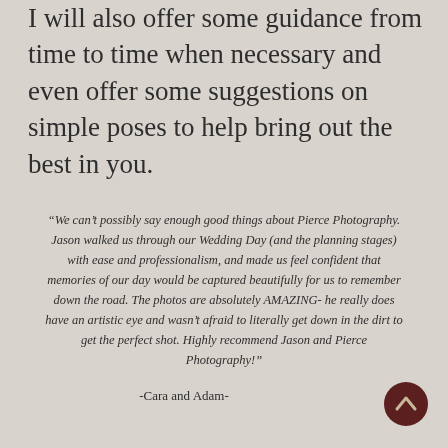I will also offer some guidance from time to time when necessary and even offer some suggestions on simple poses to help bring out the best in you.
“We can’t possibly say enough good things about Pierce Photography. Jason walked us through our Wedding Day (and the planning stages) with ease and professionalism, and made us feel confident that memories of our day would be captured beautifully for us to remember down the road. The photos are absolutely AMAZING- he really does have an artistic eye and wasn’t afraid to literally get down in the dirt to get the perfect shot. Highly recommend Jason and Pierce Photography!”
-Cara and Adam-